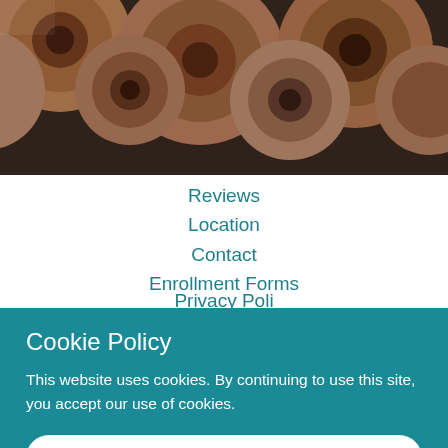[Figure (photo): Close-up photo of colored pencil tips viewed from the eraser end, showing a bundle of wooden pencils with dark graphite/colored cores]
Reviews
Location
Contact
Enrollment Forms
Cookie Policy
This website uses cookies. By continuing to use this site, you accept our use of cookies.
ACCEPT & CLOSE